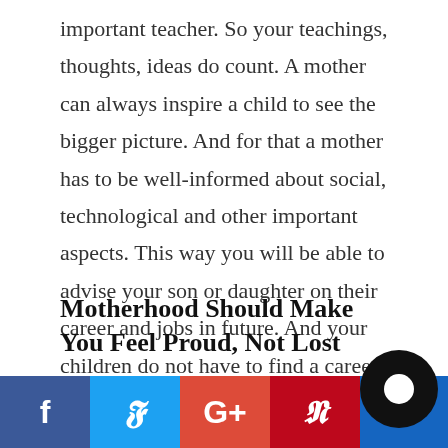important teacher. So your teachings, thoughts, ideas do count. A mother can always inspire a child to see the bigger picture. And for that a mother has to be well-informed about social, technological and other important aspects. This way you will be able to advise your son or daughter on their career and jobs in future. And your children do not have to find a career guidance.
Motherhood Should Make You Feel Proud, Not Lost
[Figure (infographic): Social media share bar with Facebook, Twitter, Google+, and Pinterest buttons, plus a circular chat icon on the right.]